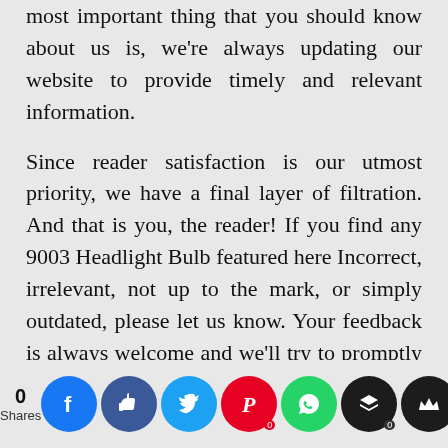most important thing that you should know about us is, we're always updating our website to provide timely and relevant information.
Since reader satisfaction is our utmost priority, we have a final layer of filtration. And that is you, the reader! If you find any 9003 Headlight Bulb featured here Incorrect, irrelevant, not up to the mark, or simply outdated, please let us know. Your feedback is always welcome and we'll try to promptly correct our list as per your reasonable suggestion. The Sylvania 9003 XtraVision bulb is a good option if you want a performing halogen bulb.